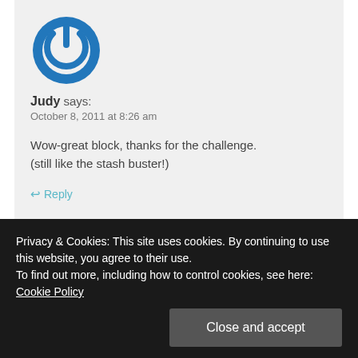[Figure (logo): Blue circular power button icon (user avatar)]
Judy says:
October 8, 2011 at 8:26 am
Wow-great block, thanks for the challenge.
(still like the stash buster!)
Reply
Privacy & Cookies: This site uses cookies. By continuing to use this website, you agree to their use.
To find out more, including how to control cookies, see here: Cookie Policy
Close and accept